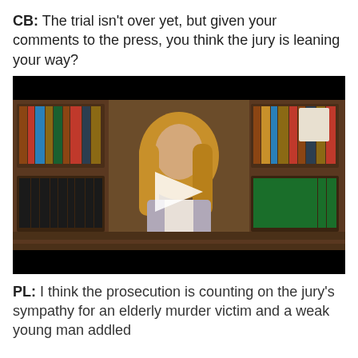CB: The trial isn't over yet, but given your comments to the press, you think the jury is leaning your way?
[Figure (screenshot): Video player screenshot showing a woman with blonde hair standing in a wood-paneled library with bookshelves, with a white play button overlay in the center]
PL: I think the prosecution is counting on the jury's sympathy for an elderly murder victim and a weak young man addled